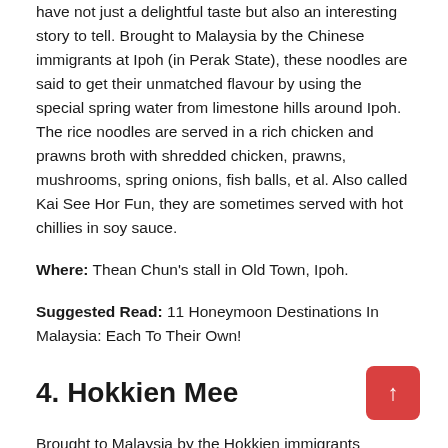have not just a delightful taste but also an interesting story to tell. Brought to Malaysia by the Chinese immigrants at Ipoh (in Perak State), these noodles are said to get their unmatched flavour by using the special spring water from limestone hills around Ipoh. The rice noodles are served in a rich chicken and prawns broth with shredded chicken, prawns, mushrooms, spring onions, fish balls, et al. Also called Kai See Hor Fun, they are sometimes served with hot chillies in soy sauce.
Where: Thean Chun's stall in Old Town, Ipoh.
Suggested Read: 11 Honeymoon Destinations In Malaysia: Each To Their Own!
4. Hokkien Mee
Brought to Malaysia by the Hokkien immigrants from this is another Malaysian food offering a flavor overload with